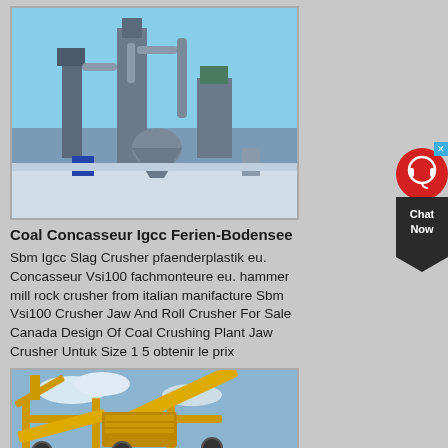[Figure (photo): Industrial grinding/milling equipment facility with large cylindrical towers, pipes, hoppers and machinery on a sunny day with blue sky]
Coal Concasseur Igcc Ferien-Bodensee
Sbm Igcc Slag Crusher pfaenderplastik eu. Concasseur Vsi100 fachmonteure eu. hammer mill rock crusher from italian manifacture Sbm Vsi100 Crusher Jaw And Roll Crusher For Sale Canada Design Of Coal Crushing Plant Jaw Crusher Untuk Size 1 5 obtenir le prix
[Figure (photo): Yellow heavy-duty mobile crushing plant machinery with conveyor belts against a cloudy sky]